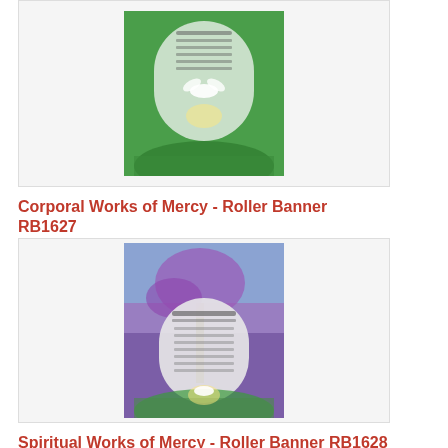[Figure (photo): Corporal Works of Mercy roller banner product image with green background and dove design]
Corporal Works of Mercy - Roller Banner RB1627
Order ref RB1627
£138.00
[Figure (photo): Spiritual Works of Mercy roller banner product image with tree and colorful background]
Spiritual Works of Mercy - Roller Banner RB1628